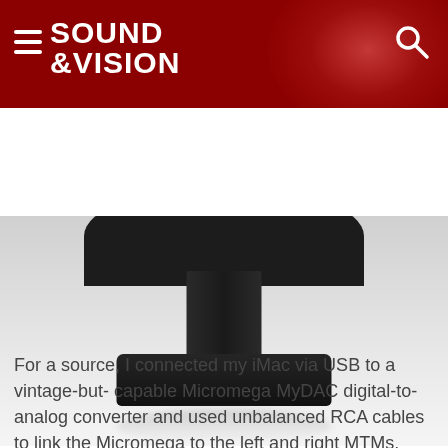SOUND &VISION
[Figure (photo): Close-up photo of a dark/black electronic device base or stand with a reflective surface, against a light grey gradient background. The device appears to be a speaker or audio equipment with a rounded top (partially visible) and a wide flat rectangular base.]
For a source, I connected my iMac via USB to a vintage-but- capable Micromega MyDAC digital-to-analog converter and used unbalanced RCA cables to link the Micromega to the left and right MTMs. Despite this single-ended, "half-strength" signal, the +4 dBu input-sensitivity setting yielded plenty of gain to clip the MTMs on any correctly mastered